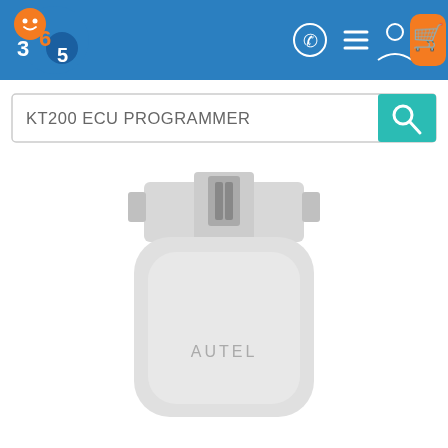[Figure (screenshot): Website navigation bar with 365 logo on the left, WhatsApp icon, menu icon, user account icon, and orange shopping cart button on the right, on a blue background]
[Figure (screenshot): Search bar with text 'KT200 ECU PROGRAMMER' and teal search button with magnifying glass icon]
[Figure (photo): Autel branded OBD2 diagnostic device/ECU programmer in white/light gray color, showing the OBD connector plug at top and rounded rectangular body with 'AUTEL' text embossed on the front face]